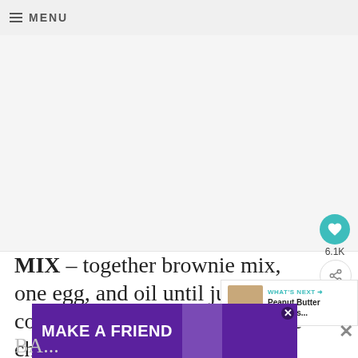≡ MENU
[Figure (photo): Large recipe photo placeholder, predominantly light gray/white background]
MIX – together brownie mix, one egg, and oil until just combined, and fold in chocolate chips.
[Figure (other): WHAT'S NEXT → Peanut Butter Snickers... thumbnail]
[Figure (other): MAKE A FRIEND advertisement banner with purple background and dog image]